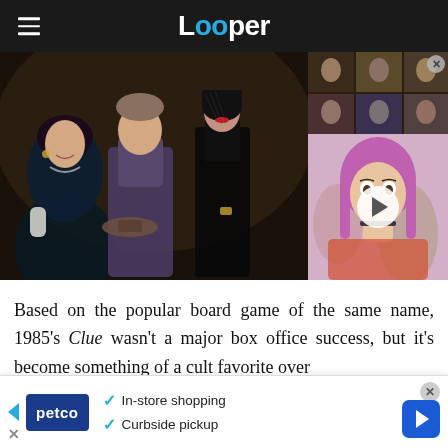Looper
[Figure (screenshot): Screenshot of Looper website showing the Clue (1985) movie article. Left side shows a scene from the movie Clue with characters in formal/gothic attire. Right side shows a split panel with a thumbnail grid on top and a video thumbnail of a girl with pink hair on the bottom with a play button overlay.]
Based on the popular board game of the same name, 1985's Clue wasn't a major box office success, but it's become something of a cult favorite over
[Figure (screenshot): Advertisement banner for Petco showing the Petco logo, with checkmarks listing 'In-store shopping' and 'Curbside pickup', and a blue navigation arrow on the right.]